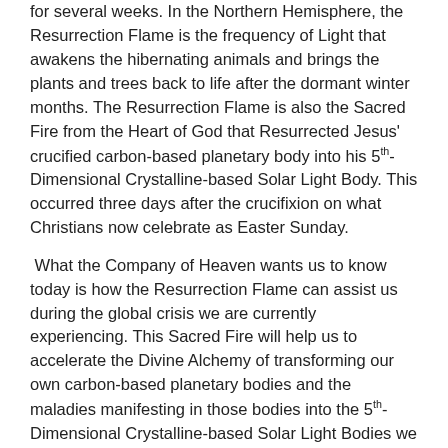for several weeks. In the Northern Hemisphere, the Resurrection Flame is the frequency of Light that awakens the hibernating animals and brings the plants and trees back to life after the dormant winter months. The Resurrection Flame is also the Sacred Fire from the Heart of God that Resurrected Jesus' crucified carbon-based planetary body into his 5th-Dimensional Crystalline-based Solar Light Body. This occurred three days after the crucifixion on what Christians now celebrate as Easter Sunday.
What the Company of Heaven wants us to know today is how the Resurrection Flame can assist us during the global crisis we are currently experiencing. This Sacred Fire will help us to accelerate the Divine Alchemy of transforming our own carbon-based planetary bodies and the maladies manifesting in those bodies into the 5th-Dimensional Crystalline-based Solar Light Bodies we will abide in when we complete our Ascension to the New Earth.
This year, due to the need of the hour and the unfolding Divine Plan, our Father-Mother God have granted the Angel of Resurrection permission to breathe higher frequencies of the Mother of Pearl Resurrection Flame into our Planetary Grid of Transfiguring Divine Love. These are frequencies of the Resurrection Flame beyond anything Humanity has been able to